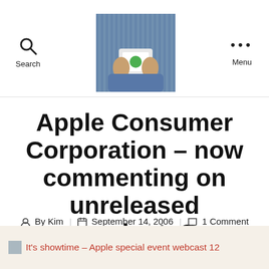Search  [logo image]  Menu
Apple Consumer Corporation – now commenting on unreleased products?
By Kim  September 14, 2006  1 Comment
It's showtime – Apple special event webcast 12